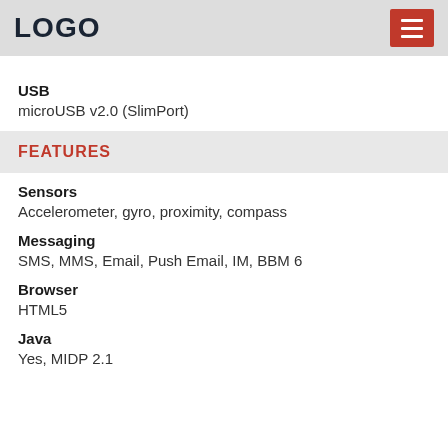LOGO
USB
microUSB v2.0 (SlimPort)
FEATURES
Sensors
Accelerometer, gyro, proximity, compass
Messaging
SMS, MMS, Email, Push Email, IM, BBM 6
Browser
HTML5
Java
Yes, MIDP 2.1